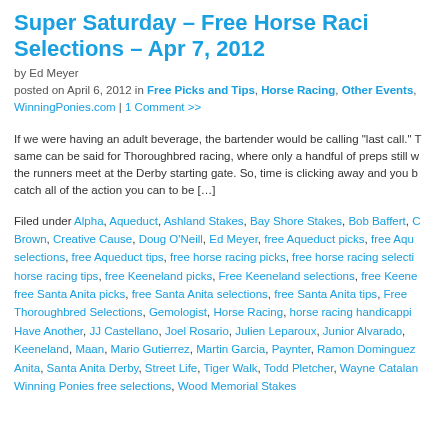Super Saturday – Free Horse Racing Selections – Apr 7, 2012
by Ed Meyer
posted on April 6, 2012 in Free Picks and Tips, Horse Racing, Other Events, WinningPonies.com | 1 Comment >>
If we were having an adult beverage, the bartender would be calling "last call." The same can be said for Thoroughbred racing, where only a handful of preps still w... the runners meet at the Derby starting gate. So, time is clicking away and you b... catch all of the action you can to be […]
Filed under Alpha, Aqueduct, Ashland Stakes, Bay Shore Stakes, Bob Baffert, C Brown, Creative Cause, Doug O'Neill, Ed Meyer, free Aqueduct picks, free Aque selections, free Aqueduct tips, free horse racing picks, free horse racing selecti horse racing tips, free Keeneland picks, Free Keeneland selections, free Keene free Santa Anita picks, free Santa Anita selections, free Santa Anita tips, Free Thoroughbred Selections, Gemologist, Horse Racing, horse racing handicappi Have Another, JJ Castellano, Joel Rosario, Julien Leparoux, Junior Alvarado, Keeneland, Maan, Mario Gutierrez, Martin Garcia, Paynter, Ramon Dominguez Anita, Santa Anita Derby, Street Life, Tiger Walk, Todd Pletcher, Wayne Catalan Winning Ponies free selections, Wood Memorial Stakes